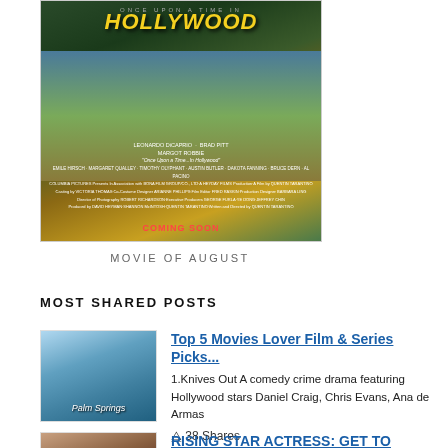[Figure (photo): Movie poster for 'Once Upon a Time in Hollywood' featuring stylized retro artwork with characters and classic cars, credits below, 'Coming Soon' text in red]
MOVIE OF AUGUST
MOST SHARED POSTS
[Figure (photo): Thumbnail image of people floating in a pool on inflatable rings]
Top 5 Movies Lover Film & Series Picks...
1.Knives Out A comedy crime drama featuring Hollywood stars Daniel Craig, Chris Evans, Ana de Armas
38 Shares
[Figure (photo): Thumbnail photo of a smiling woman with curly hair]
RISING STAR ACTRESS: GET TO KNOW ACTRESS & BUSINESS OWNER